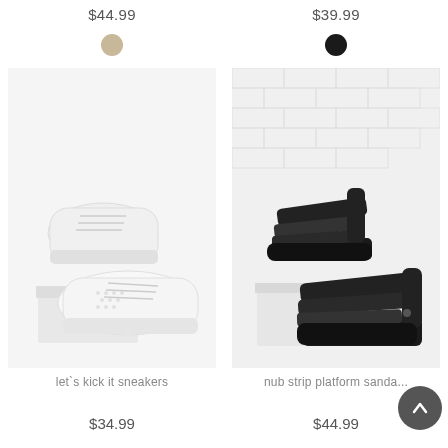$44.99
$39.99
[Figure (photo): White lace-up sneakers (let's kick it sneakers) on a white background with a white pedestal]
[Figure (photo): Black platform sandals (nub strip platform sandals) against a white brick wall background with a white pedestal]
let`s kick it sneakers
nub strip platform sanda...
$34.99
$44.99